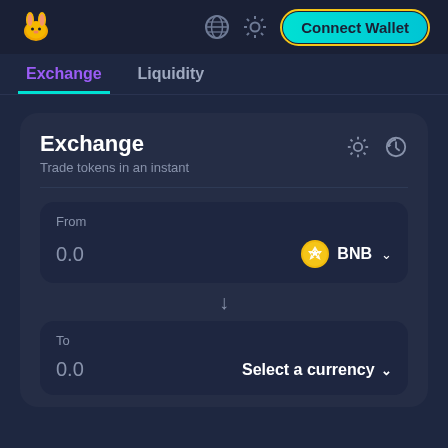[Figure (screenshot): PancakeSwap DEX interface screenshot showing top navigation bar with bunny logo, globe icon, settings icon, and Connect Wallet button with golden glow border]
Exchange
Liquidity
Exchange
Trade tokens in an instant
From
0.0
BNB
To
0.0
Select a currency